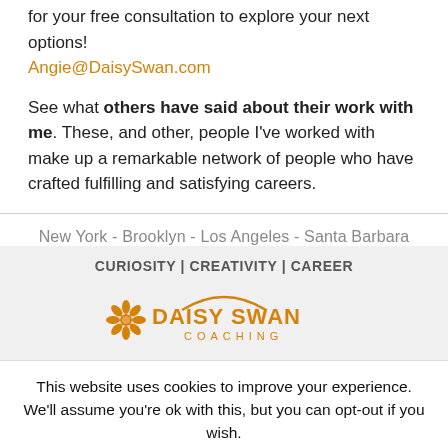for your free consultation to explore your next options! Angie@DaisySwan.com
See what others have said about their work with me. These, and other, people I've worked with make up a remarkable network of people who have crafted fulfilling and satisfying careers.
New York - Brooklyn - Los Angeles - Santa Barbara
CURIOSITY | CREATIVITY | CAREER
[Figure (logo): Daisy Swan Coaching logo with orange daisy flower icon and orange arc above the text]
This website uses cookies to improve your experience. We'll assume you're ok with this, but you can opt-out if you wish.
Cookie settings   ACCEPT